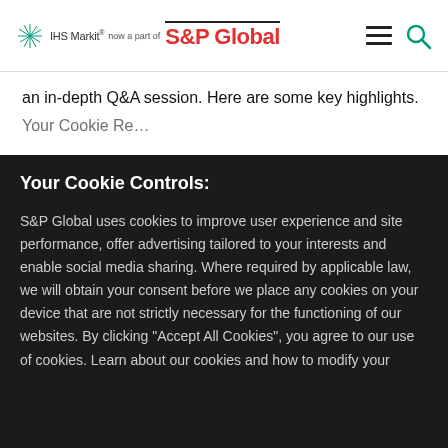IHS Markit now a part of S&P Global
an in-depth Q&A session. Here are some key highlights.
Your Cookie Controls:
S&P Global uses cookies to improve user experience and site performance, offer advertising tailored to your interests and enable social media sharing. Where required by applicable law, we will obtain your consent before we place any cookies on your device that are not strictly necessary for the functioning of our websites. By clicking "Accept All Cookies", you agree to our use of cookies. Learn about our cookies and how to modify your